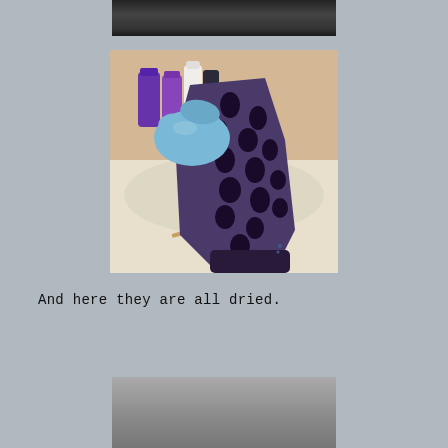[Figure (photo): Partial top photo of a dark object, cropped at the top of the page]
[Figure (photo): A gloved hand (blue latex glove) holding up a purple/dark blue polka-dotted fabric over a bathroom sink with toiletries in the background]
And here they are all dried.
[Figure (photo): Partial bottom photo showing dried items, cropped at the bottom of the page]